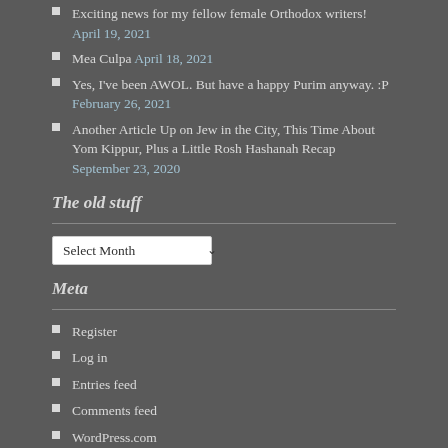Exciting news for my fellow female Orthodox writers! April 19, 2021
Mea Culpa April 18, 2021
Yes, I've been AWOL. But have a happy Purim anyway. :P February 26, 2021
Another Article Up on Jew in the City, This Time About Yom Kippur, Plus a Little Rosh Hashanah Recap September 23, 2020
The old stuff
Meta
Register
Log in
Entries feed
Comments feed
WordPress.com
Subscribe to Blog via Email
Enter your email address to subscribe to this blog and receive notifications of new posts by email.